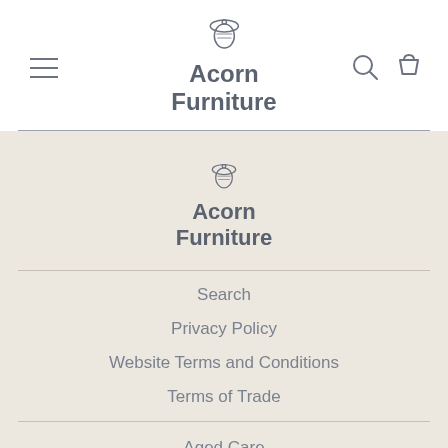[Figure (logo): Acorn Furniture logo with acorn icon and bold text in header]
[Figure (logo): Acorn Furniture logo with acorn icon and bold text in footer]
Search
Privacy Policy
Website Terms and Conditions
Terms of Trade
Aged Care